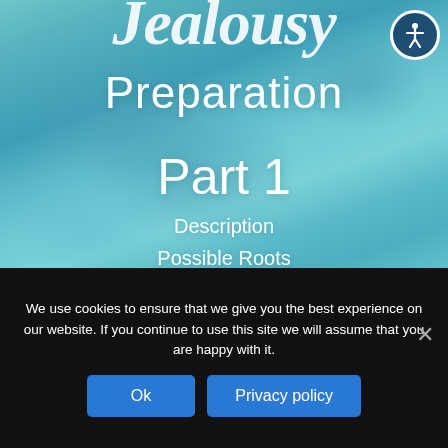[Figure (illustration): Watercolor blue background with partially visible cursive/script title text at top and white sans-serif text overlaid showing 'Preparation', 'Part 1', and list items. An accessibility icon (person with arms outstretched in a circle) appears in the top right corner.]
Preparation
Part 1
Description
Possible Roots
Generational Issues
Generational Blessings
We use cookies to ensure that we give you the best experience on our website. If you continue to use this site we will assume that you are happy with it.